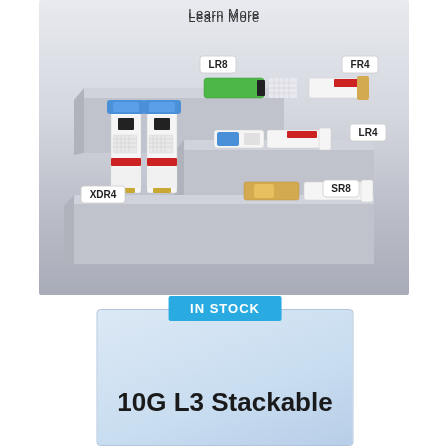[Figure (illustration): Product illustration showing multiple optical transceiver modules (LR8, FR4, LR4, XDR4, SR8) arranged on tiered display platforms with 'Learn More' text at the top. Modules are shown in various colors (blue, green, white, gold) with red accents and labels.]
[Figure (infographic): Product card with light blue gradient background, 'IN STOCK' badge in cyan/teal color, and large bold text reading '10G L3 Stackable']